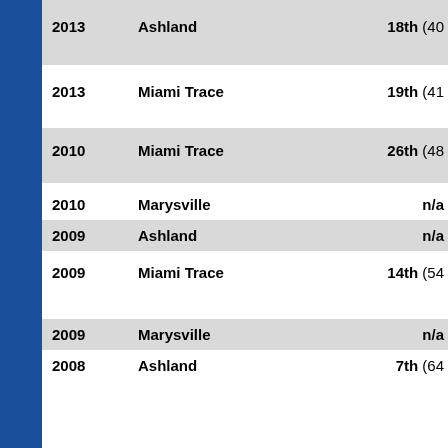| Year | School | Rank |
| --- | --- | --- |
| 2013 | Ashland | 18th (40... |
| 2013 | Miami Trace | 19th (41... |
| 2010 | Miami Trace | 26th (48... |
| 2010 | Marysville | n/a |
| 2009 | Ashland | n/a |
| 2009 | Miami Trace | 14th (54... |
| 2009 | Marysville | n/a |
| 2008 | Ashland | 7th (64... |